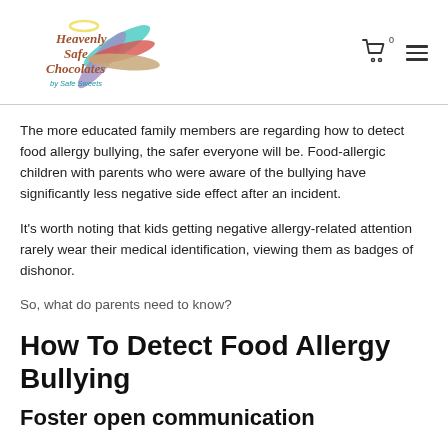Heavenly Safe Chocolates by Safe Sweets
The more educated family members are regarding how to detect food allergy bullying, the safer everyone will be. Food-allergic children with parents who were aware of the bullying have significantly less negative side effect after an incident.
It's worth noting that kids getting negative allergy-related attention rarely wear their medical identification, viewing them as badges of dishonor.
So, what do parents need to know?
How To Detect Food Allergy Bullying
Foster open communication